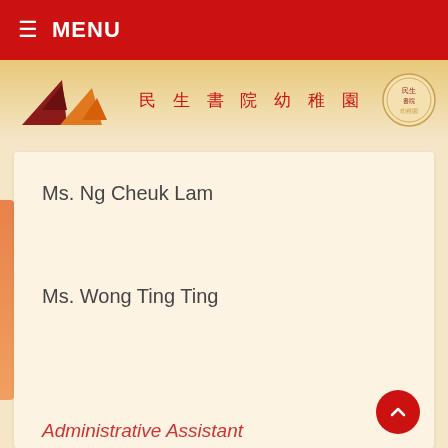≡ MENU
[Figure (logo): School logo with triangles, Chinese text 民生書院幼稚園, and circular emblem]
Ms. Ng Cheuk Lam
Ms. Wong Ting Ting
Administrative Assistant
Ms. Leung Sze Man